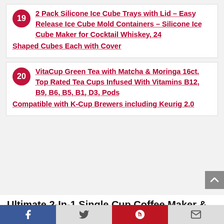19 – 2 Pack Silicone Ice Cube Trays with Lid – Easy Release Ice Cube Mold Containers – Silicone Ice Cube Maker for Cocktail Whiskey, 24 Shaped Cubes Each with Cover
20 – VitaCup Green Tea with Matcha & Moringa 16ct. Top Rated Tea Cups Infused With Vitamins B12, B9, B6, B5, B1, D3, Pods Compatible with K-Cup Brewers including Keurig 2.0
Ultimate 2-In-1 Single Cup Coffee Maker & 14oz Travel Mug Combo | Portable & Lightweight Personal Drip Coffee Brewer &
Facebook | Twitter | Pinterest | Email